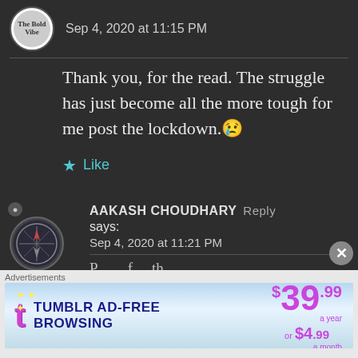Sep 4, 2020 at 11:15 PM
Thank you, for the read. The struggle has just become all the more tough for me post the lockdown.😢
Like
AAKASH CHOUDHARY says: Sep 4, 2020 at 11:21 PM
Advertisements
[Figure (other): Tumblr ad banner: TUMBLR AD-FREE BROWSING $39.99 a year or $4.99 a month]